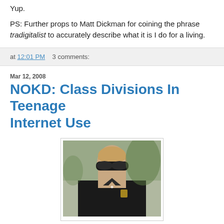Yup.
PS: Further props to Matt Dickman for coining the phrase tradigitalist to accurately describe what it is I do for a living.
at 12:01 PM   3 comments:
Mar 12, 2008
NOKD: Class Divisions In Teenage Internet Use
[Figure (photo): A woman wearing dark sunglasses and a black Ralph Lauren polo shirt with the polo horse logo, photographed outdoors.]